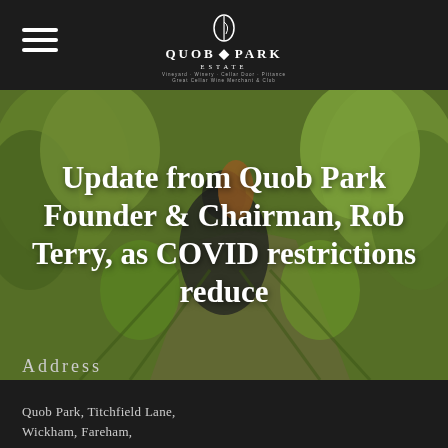[Figure (logo): Quob Park Estate logo with leaf icon, 'QUOB PARK' text, 'ESTATE' subtitle, and tagline 'Vineyard · Winery · Cellar Door · Pittance, Great Cellar Wine Merchant & Club']
[Figure (photo): Woman wearing a dark jacket and face mask working among grapevines with green and yellow autumn foliage]
Update from Quob Park Founder & Chairman, Rob Terry, as COVID restrictions reduce
Address
Quob Park, Titchfield Lane, Wickham, Fareham,